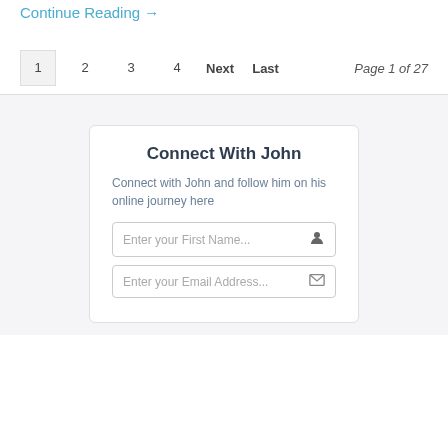Continue Reading →
1  2  3  4  Next  Last    Page 1 of 27
Connect With John
Connect with John and follow him on his online journey here
Enter your First Name...
Enter your Email Address...